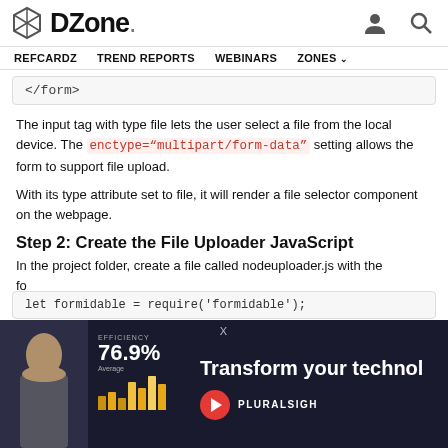DZone. [user icon] [search icon]
REFCARDZ  TREND REPORTS  WEBINARS  ZONES
</form>
The input tag with type file lets the user select a file from the local device. The enctype="multipart/form-data" setting allows the form to support file upload.
With its type attribute set to file, it will render a file selector component on the webpage.
Step 2: Create the File Uploader JavaScript
In the project folder, create a file called nodeuploader.js with the fo
[Figure (screenshot): Pluralsight advertisement banner: dark background with woman photo, efficiency stats 76.9% Average, bar chart, text 'Transform your techno...' and Pluralsight logo with play button]
let formidable = require('formidable');